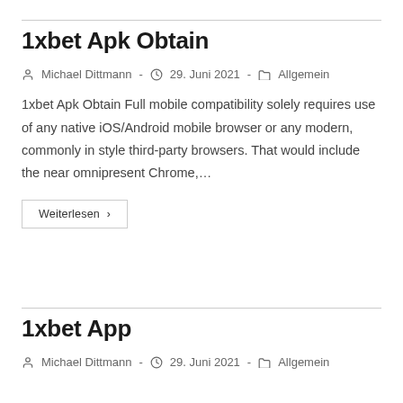1xbet Apk Obtain
Michael Dittmann - 29. Juni 2021 - Allgemein
1xbet Apk Obtain Full mobile compatibility solely requires use of any native iOS/Android mobile browser or any modern, commonly in style third-party browsers. That would include the near omnipresent Chrome,…
Weiterlesen ›
1xbet App
Michael Dittmann - 29. Juni 2021 - Allgemein